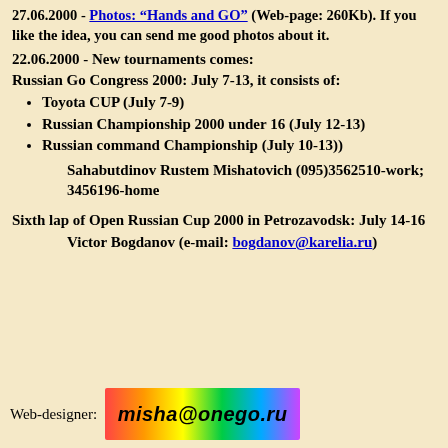27.06.2000 - Photos: "Hands and GO" (Web-page: 260Kb). If you like the idea, you can send me good photos about it.
22.06.2000 - New tournaments comes:
Russian Go Congress 2000: July 7-13, it consists of:
Toyota CUP (July 7-9)
Russian Championship 2000 under 16 (July 12-13)
Russian command Championship (July 10-13))
Sahabutdinov Rustem Mishatovich (095)3562510-work; 3456196-home
Sixth lap of Open Russian Cup 2000 in Petrozavodsk: July 14-16
Victor Bogdanov (e-mail: bogdanov@karelia.ru)
Web-designer: misha@onego.ru